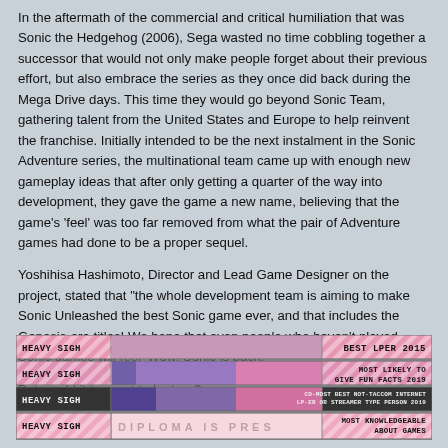In the aftermath of the commercial and critical humiliation that was Sonic the Hedgehog (2006), Sega wasted no time cobbling together a successor that would not only make people forget about their previous effort, but also embrace the series as they once did back during the Mega Drive days. This time they would go beyond Sonic Team, gathering talent from the United States and Europe to help reinvent the franchise. Initially intended to be the next instalment in the Sonic Adventure series, the multinational team came up with enough new gameplay ideas that after only getting a quarter of the way into development, they gave the game a new name, believing that the game's 'feel' was too far removed from what the pair of Adventure games had done to be a proper sequel.
Yoshihisa Hashimoto, Director and Lead Game Designer on the project, stated that "the whole development team is aiming to make Sonic Unleashed the best Sonic game ever, and that includes the Genesis-era titles! We hope that even people who haven't played Sonic games will feel 'Wow, Sonic is back!""
But would it turn out to be true?
[Figure (infographic): Four banner awards/diplomas for 'HEAVY SIGH': Best LPer 2015, Most Likely to Give Fun Facts 2019, Co-Most Best Not-TACCow Internet LP-er or Streamer Type Person 2019, Most Knowledgeable About Games]